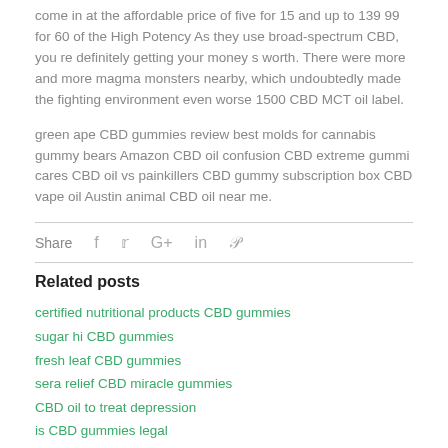come in at the affordable price of five for 15 and up to 139 99 for 60 of the High Potency As they use broad-spectrum CBD, you re definitely getting your money s worth. There were more and more magma monsters nearby, which undoubtedly made the fighting environment even worse 1500 CBD MCT oil label.
green ape CBD gummies review best molds for cannabis gummy bears Amazon CBD oil confusion CBD extreme gummi cares CBD oil vs painkillers CBD gummy subscription box CBD vape oil Austin animal CBD oil near me.
Share
Related posts
certified nutritional products CBD gummies
sugar hi CBD gummies
fresh leaf CBD gummies
sera relief CBD miracle gummies
CBD oil to treat depression
is CBD gummies legal